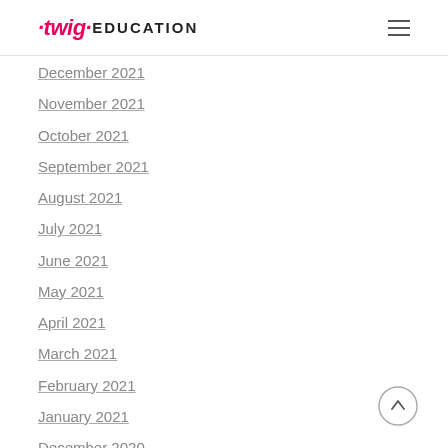twig EDUCATION
December 2021
November 2021
October 2021
September 2021
August 2021
July 2021
June 2021
May 2021
April 2021
March 2021
February 2021
January 2021
December 2020
November 2020
October 2020
September 2020
August 2020
June 2020